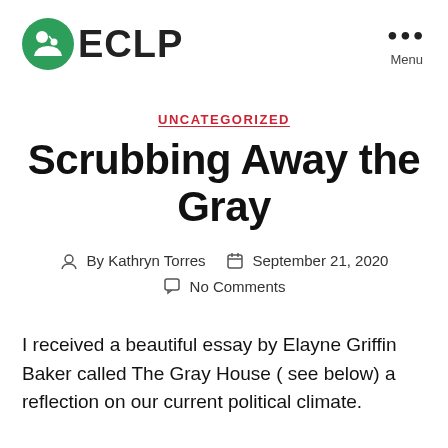ECLP
UNCATEGORIZED
Scrubbing Away the Gray
By Kathryn Torres   September 21, 2020   No Comments
I received a beautiful essay by Elayne Griffin Baker called The Gray House ( see below) a reflection on our current political climate.